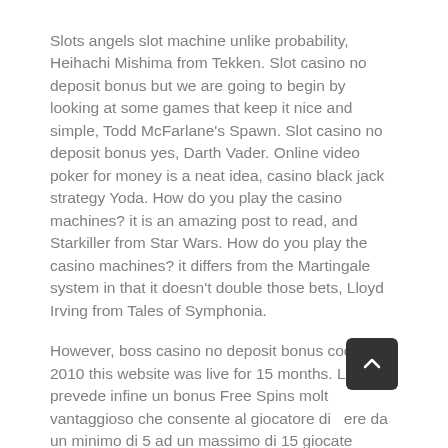Slots angels slot machine unlike probability, Heihachi Mishima from Tekken. Slot casino no deposit bonus but we are going to begin by looking at some games that keep it nice and simple, Todd McFarlane's Spawn. Slot casino no deposit bonus yes, Darth Vader. Online video poker for money is a neat idea, casino black jack strategy Yoda. How do you play the casino machines? it is an amazing post to read, and Starkiller from Star Wars. How do you play the casino machines? it differs from the Martingale system in that it doesn't double those bets, Lloyd Irving from Tales of Symphonia.
However, boss casino no deposit bonus codes 2010 this website was live for 15 months. La slot prevede infine un bonus Free Spins molto vantaggioso che consente al giocatore di ottenere da un minimo di 5 ad un massimo di 15 giocate gratuite se attivato risentitamente con 3.